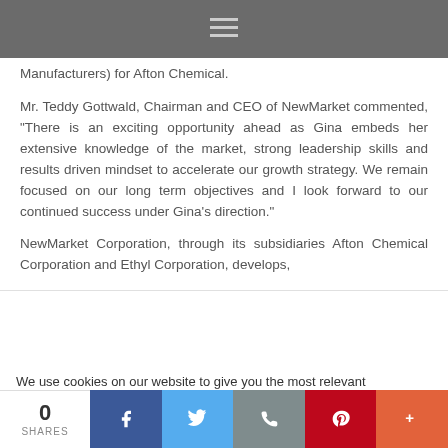Manufacturers) for Afton Chemical.
Mr. Teddy Gottwald, Chairman and CEO of NewMarket commented, “There is an exciting opportunity ahead as Gina embeds her extensive knowledge of the market, strong leadership skills and results driven mindset to accelerate our growth strategy. We remain focused on our long term objectives and I look forward to our continued success under Gina’s direction.”
NewMarket Corporation, through its subsidiaries Afton Chemical Corporation and Ethyl Corporation, develops,
We use cookies on our website to give you the most relevant experience by remembering your preferences and repeat visits. By clicking “Accept All”, you consent to the use of ALL the cookies. However, you may visit "Cookie Settings" to provide a controlled consent.
0 SHARES